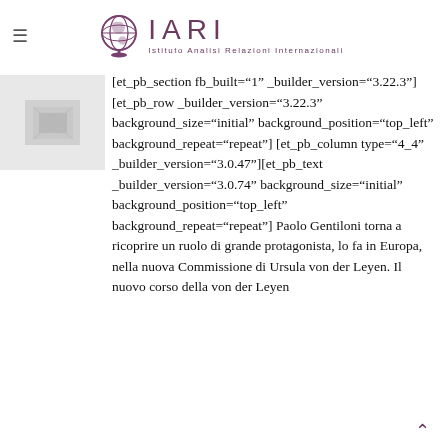IARI — Istituto Analisi Relazioni Internazionali
[Figure (other): Thumbnail image placeholder, light grey rectangle]
[et_pb_section fb_built="1" _builder_version="3.22.3"][et_pb_row _builder_version="3.22.3" background_size="initial" background_position="top_left" background_repeat="repeat"][et_pb_column type="4_4" _builder_version="3.0.47"][et_pb_text _builder_version="3.0.74" background_size="initial" background_position="top_left" background_repeat="repeat"] Paolo Gentiloni torna a ricoprire un ruolo di grande protagonista, lo fa in Europa, nella nuova Commissione di Ursula von der Leyen. Il nuovo corso della von der Leyen